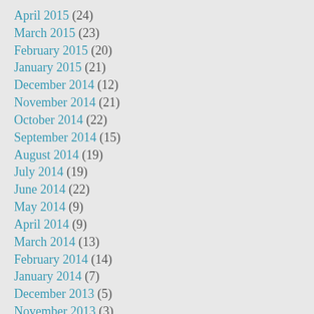April 2015 (24)
March 2015 (23)
February 2015 (20)
January 2015 (21)
December 2014 (12)
November 2014 (21)
October 2014 (22)
September 2014 (15)
August 2014 (19)
July 2014 (19)
June 2014 (22)
May 2014 (9)
April 2014 (9)
March 2014 (13)
February 2014 (14)
January 2014 (7)
December 2013 (5)
November 2013 (3)